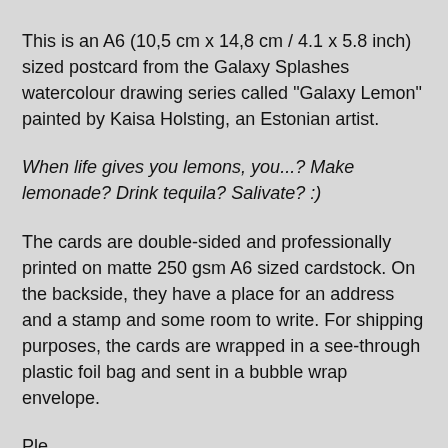This is an A6 (10,5 cm x 14,8 cm / 4.1 x 5.8 inch) sized postcard from the Galaxy Splashes watercolour drawing series called "Galaxy Lemon" painted by Kaisa Holsting, an Estonian artist.
When life gives you lemons, you...? Make lemonade? Drink tequila? Salivate? :)
The cards are double-sided and professionally printed on matte 250 gsm A6 sized cardstock. On the backside, they have a place for an address and a stamp and some room to write. For shipping purposes, the cards are wrapped in a see-through plastic foil bag and sent in a bubble wrap envelope.
Please note that the colours of the cards shown are not...